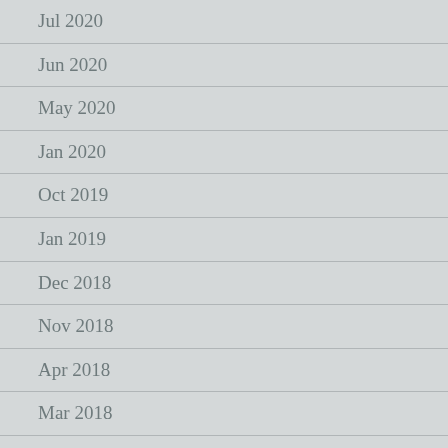Jul 2020
Jun 2020
May 2020
Jan 2020
Oct 2019
Jan 2019
Dec 2018
Nov 2018
Apr 2018
Mar 2018